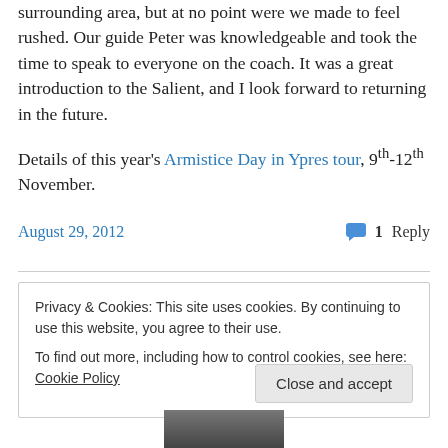surrounding area, but at no point were we made to feel rushed. Our guide Peter was knowledgeable and took the time to speak to everyone on the coach. It was a great introduction to the Salient, and I look forward to returning in the future.
Details of this year's Armistice Day in Ypres tour, 9th-12th November.
August 29, 2012   💬 1 Reply
Privacy & Cookies: This site uses cookies. By continuing to use this website, you agree to their use. To find out more, including how to control cookies, see here: Cookie Policy
Close and accept
[Figure (photo): Partial photo visible at bottom of page, appears to be a person or portrait image]